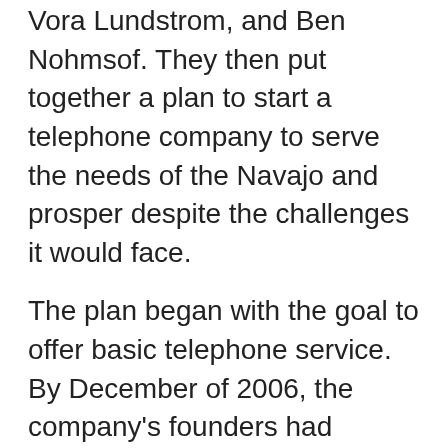Vora Lundstrom, and Ben Nohmsof. They then put together a plan to start a telephone company to serve the needs of the Navajo and prosper despite the challenges it would face.
The plan began with the goal to offer basic telephone service. By December of 2006, the company's founders had arranged financing and gained regulatory approval to purchase a small section of copper plant in the Navajo nation from Qwest. With this small beginning, Sacred Wind Communications opened for business to great interest from the community. Badal said, “When we opened for business, we had six employees, no furniture, and hundreds of people calling us to request